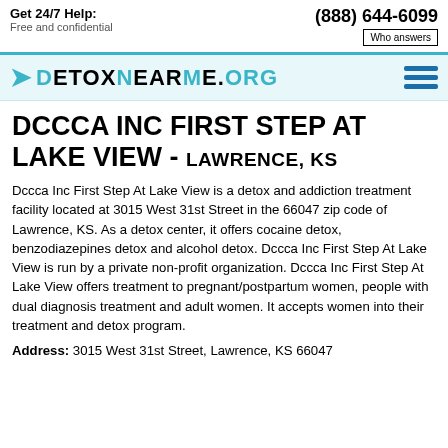Get 24/7 Help: Free and confidential | (888) 644-6099 | Who answers
[Figure (logo): DetoxNearMe.org logo with teal chevron arrow and hamburger menu icon]
DCCCA INC FIRST STEP AT LAKE VIEW - LAWRENCE, KS
Dccca Inc First Step At Lake View is a detox and addiction treatment facility located at 3015 West 31st Street in the 66047 zip code of Lawrence, KS. As a detox center, it offers cocaine detox, benzodiazepines detox and alcohol detox. Dccca Inc First Step At Lake View is run by a private non-profit organization. Dccca Inc First Step At Lake View offers treatment to pregnant/postpartum women, people with dual diagnosis treatment and adult women. It accepts women into their treatment and detox program.
Address: 3015 West 31st Street, Lawrence, KS 66047